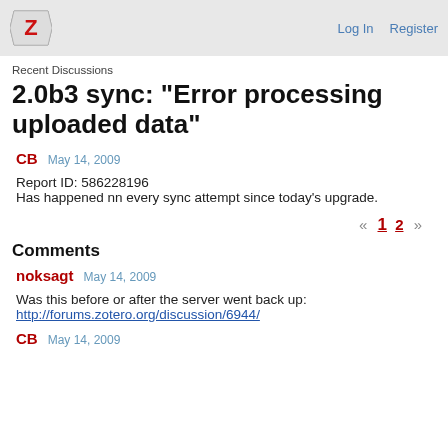Log In   Register
Recent Discussions
2.0b3 sync: "Error processing uploaded data"
CB   May 14, 2009
Report ID: 586228196
Has happened nn every sync attempt since today's upgrade.
« 1 2 »
Comments
noksagt   May 14, 2009
Was this before or after the server went back up:
http://forums.zotero.org/discussion/6944/
CB   May 14, 2009